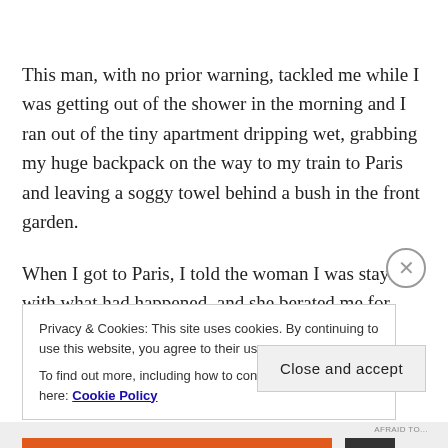This man, with no prior warning, tackled me while I was getting out of the shower in the morning and I ran out of the tiny apartment dripping wet, grabbing my huge backpack on the way to my train to Paris and leaving a soggy towel behind a bush in the front garden.
When I got to Paris, I told the woman I was staying with what had happened, and she berated me for trusting a
Privacy & Cookies: This site uses cookies. By continuing to use this website, you agree to their use.
To find out more, including how to control cookies, see here: Cookie Policy
Close and accept